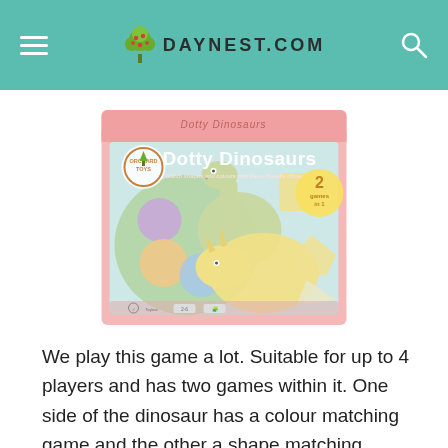DAYNEST.COM
[Figure (photo): Product box image of Orchard Toys 'Dotty Dinosaurs' game showing pastel-coloured dinosaurs, shapes and dots. Text on box: 'Dotty Dinosaurs – Match shapes and colours with these friendly dinosaurs. 2 games in 1.']
We play this game a lot. Suitable for up to 4 players and has two games within it. One side of the dinosaur has a colour matching game and the other a shape matching game. There are two dice included and along with the matching skills, it also teach patience as the game will become harder the